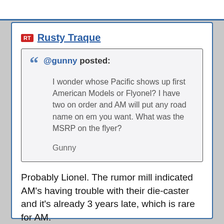Rusty Traque
@gunny posted: I wonder whose Pacific shows up first American Models or Flyonel? I have two on order and AM will put any road name on em you want. What was the MSRP on the flyer?

Gunny
Probably Lionel.  The rumor mill indicated AM's having trouble with their die-caster and it's already 3 years late, which is rare for AM.

Rusty